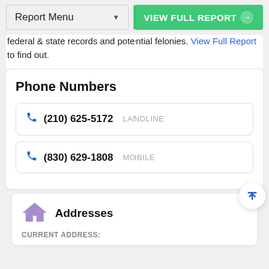Report Menu | VIEW FULL REPORT
federal & state records and potential felonies. View Full Report to find out.
Phone Numbers
(210) 625-5172  LANDLINE
(830) 629-1808  MOBILE
Addresses
CURRENT ADDRESS: